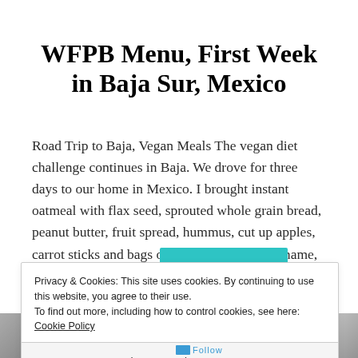WFPB Menu, First Week in Baja Sur, Mexico
Road Trip to Baja, Vegan Meals The vegan diet challenge continues in Baja. We drove for three days to our home in Mexico. I brought instant oatmeal with flax seed, sprouted whole grain bread, peanut butter, fruit spread, hummus, cut up apples, carrot sticks and bags of cooked quinoa, edamame, rice, roasted chic peas and…
Privacy & Cookies: This site uses cookies. By continuing to use this website, you agree to their use.
To find out more, including how to control cookies, see here: Cookie Policy
Close and accept